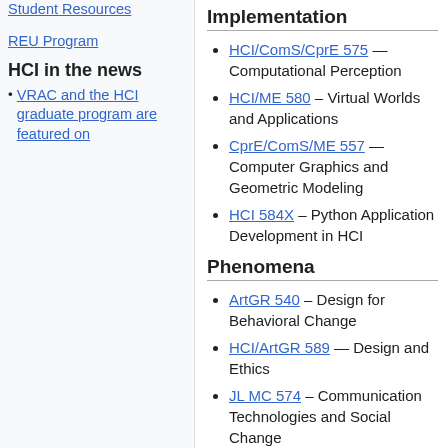Student Resources
REU Program
HCI in the news
VRAC and the HCI graduate program are featured on
Implementation
HCI/ComS/CprE 575 — Computational Perception
HCI/ME 580 – Virtual Worlds and Applications
CprE/ComS/ME 557 — Computer Graphics and Geometric Modeling
HCI 584X – Python Application Development in HCI
Phenomena
ArtGR 540 – Design for Behavioral Change
HCI/ArtGR 589 — Design and Ethics
JL MC 574 – Communication Technologies and Social Change
JL MC 474 – Communication Technology